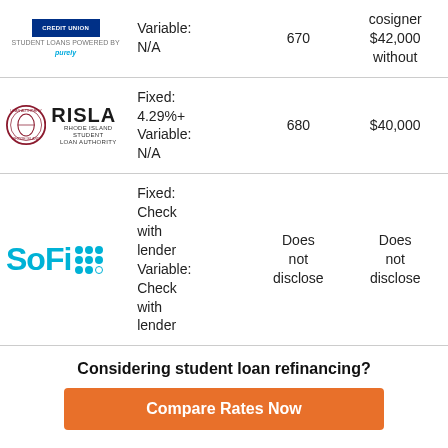| Lender | Rates | Min Credit | Max Loan |
| --- | --- | --- | --- |
| Credit Union (Student Loans Powered by Purely) | Variable: N/A | 670 | cosigner $42,000 without |
| RISLA Rhode Island Student Loan Authority | Fixed: 4.29%+ Variable: N/A | 680 | $40,000 |
| SoFi | Fixed: Check with lender Variable: Check with lender | Does not disclose | Does not disclose |
Considering student loan refinancing?
Compare Rates Now